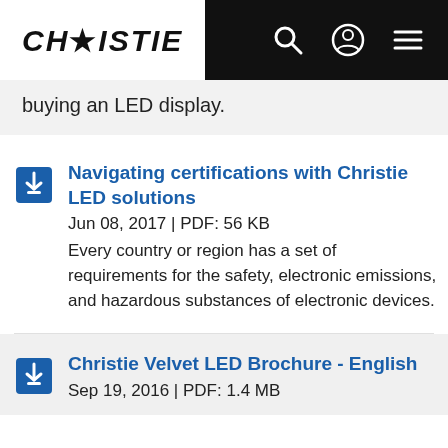CHRISTIE
buying an LED display.
Navigating certifications with Christie LED solutions | Jun 08, 2017 | PDF: 56 KB | Every country or region has a set of requirements for the safety, electronic emissions, and hazardous substances of electronic devices.
Christie Velvet LED Brochure - English | Sep 19, 2016 | PDF: 1.4 MB